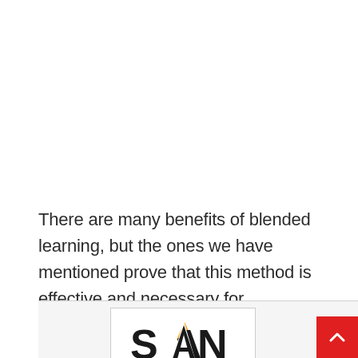There are many benefits of blended learning, but the ones we have mentioned prove that this method is effective and necessary for educational institutes.
[Figure (logo): SAN logo inside a bordered rectangle on a light grey background section]